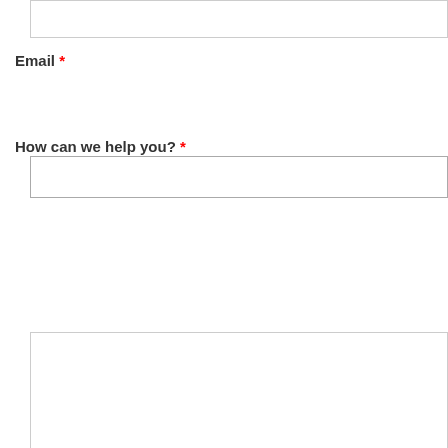[Figure (screenshot): Partial text input box at the top of the form, appears to be cut off from above]
Email *
[Figure (screenshot): Email input text field, empty, with border]
How can we help you? *
[Figure (screenshot): Large multi-line textarea input field, empty, with resize handle at bottom right]
Submit
[Figure (screenshot): Dark gray scroll-to-top button with double chevron up arrow, positioned at bottom right]